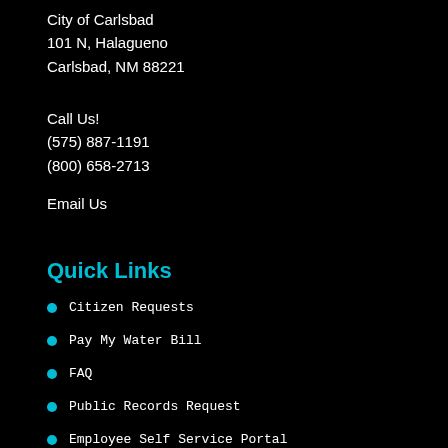City of Carlsbad
101 N, Halagueno
Carlsbad, NM 88221
Call Us!
(575) 887-1191
(800) 658-2713
Email Us
Quick Links
Citizen Requests
Pay My Water Bill
FAQ
Public Records Request
Employee Self Service Portal